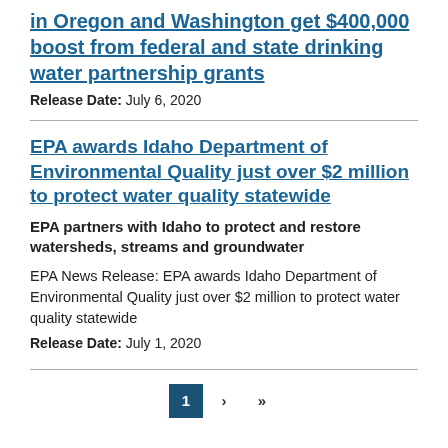in Oregon and Washington get $400,000 boost from federal and state drinking water partnership grants
Release Date: July 6, 2020
EPA awards Idaho Department of Environmental Quality just over $2 million to protect water quality statewide
EPA partners with Idaho to protect and restore watersheds, streams and groundwater
EPA News Release: EPA awards Idaho Department of Environmental Quality just over $2 million to protect water quality statewide
Release Date: July 1, 2020